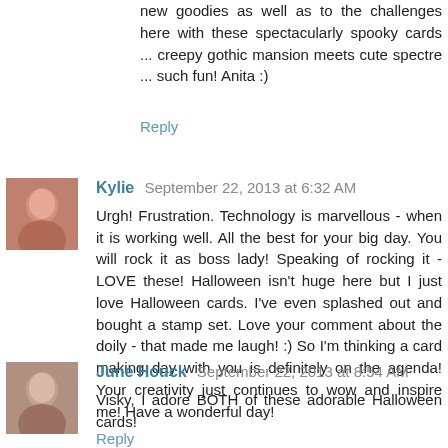new goodies as well as to the challenges here with these spectacularly spooky cards ... creepy gothic mansion meets cute spectre ... such fun! Anita :)
Reply
Kylie  September 22, 2013 at 6:32 AM
Urgh! Frustration. Technology is marvellous - when it is working well. All the best for your big day. You will rock it as boss lady! Speaking of rocking it - LOVE these! Halloween isn't huge here but I just love Halloween cards. I've even splashed out and bought a stamp set. Love your comment about the doily - that made me laugh! :) So I'm thinking a card making day with you is definitely on the agenda! Your creativity just continues to wow and inspire me! Have a wonderful day!
Reply
June Houck  September 22, 2013 at 8:54 AM
Visky, I adore BOTH of these adorable Halloween cards!